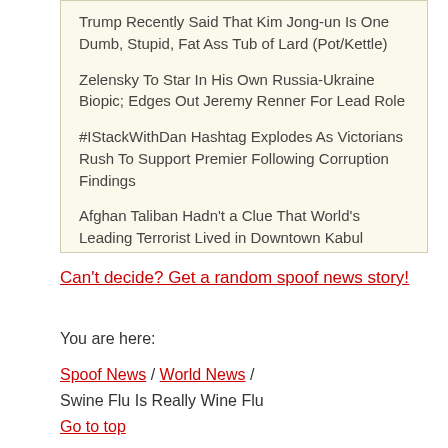Trump Recently Said That Kim Jong-un Is One Dumb, Stupid, Fat Ass Tub of Lard (Pot/Kettle)
Zelensky To Star In His Own Russia-Ukraine Biopic; Edges Out Jeremy Renner For Lead Role
#IStackWithDan Hashtag Explodes As Victorians Rush To Support Premier Following Corruption Findings
Afghan Taliban Hadn't a Clue That World's Leading Terrorist Lived in Downtown Kabul
Can't decide? Get a random spoof news story!
You are here:
Spoof News / World News / Swine Flu Is Really Wine Flu
Go to top